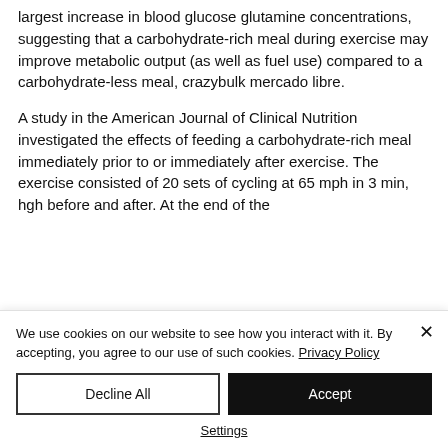largest increase in blood glucose glutamine concentrations, suggesting that a carbohydrate-rich meal during exercise may improve metabolic output (as well as fuel use) compared to a carbohydrate-less meal, crazybulk mercado libre.
A study in the American Journal of Clinical Nutrition investigated the effects of feeding a carbohydrate-rich meal immediately prior to or immediately after exercise. The exercise consisted of 20 sets of cycling at 65 mph in 3 min, hgh before and after. At the end of the
We use cookies on our website to see how you interact with it. By accepting, you agree to our use of such cookies. Privacy Policy